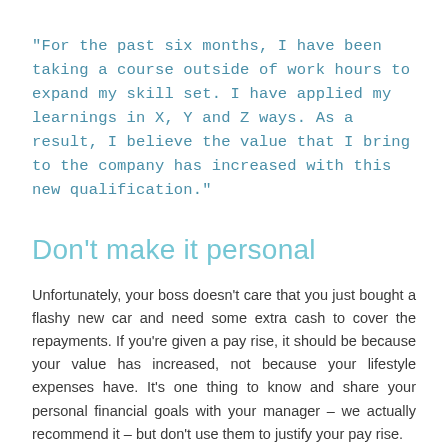"For the past six months, I have been taking a course outside of work hours to expand my skill set. I have applied my learnings in X, Y and Z ways. As a result, I believe the value that I bring to the company has increased with this new qualification."
Don't make it personal
Unfortunately, your boss doesn't care that you just bought a flashy new car and need some extra cash to cover the repayments. If you're given a pay rise, it should be because your value has increased, not because your lifestyle expenses have. It's one thing to know and share your personal financial goals with your manager – we actually recommend it – but don't use them to justify your pay rise.